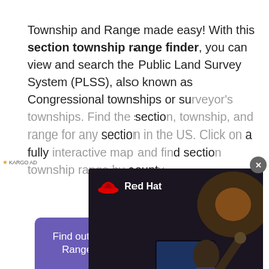Township and Range made easy! With this section township range finder, you can view and search the Public Land Survey System (PLSS), also known as Congressional townships or su… sectio… sectio… on a fully… d sectio… count…
[Figure (other): Red Hat advertisement overlay showing a person at a computer with arms raised, with text 'This is what connecting your clouds feels like'. Includes Kargo AD label and close button.]
Find out what Section Township and Range you are CURRENTLY IN